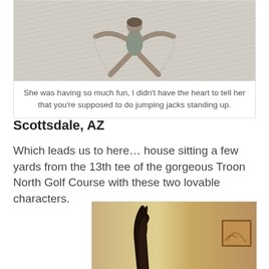[Figure (photo): Person lying on white sand making a sand angel with arms and legs spread wide, viewed from above]
She was having so much fun, I didn't have the heart to tell her that you're supposed to do jumping jacks standing up.
Scottsdale, AZ
Which leads us to here… house sitting a few yards from the 13th tee of the gorgeous Troon North Golf Course with these two lovable characters.
[Figure (photo): Interior room photo showing a tall dark decorative sculpture or figure near a doorway with warm tan/golden walls and framed art in background]